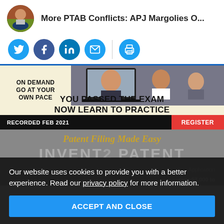More PTAB Conflicts: APJ Margolies O...
[Figure (screenshot): Social media sharing icons: Twitter, Facebook, LinkedIn, Email, Print]
[Figure (screenshot): Advertisement banner: ON DEMAND GO AT YOUR OWN PACE / YOU PASSED THE EXAM NOW LEARN TO PRACTICE / RECORDED FEB 2021 / REGISTER]
[Figure (screenshot): Advertisement banner: Patent Filing Made Easy / INVENT2PATENT]
Our website uses cookies to provide you with a better experience. Read our privacy policy for more information.
ACCEPT AND CLOSE